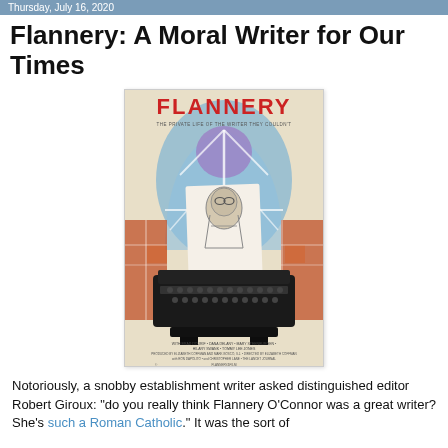Thursday, July 16, 2020
Flannery: A Moral Writer for Our Times
[Figure (illustration): Movie poster for 'Flannery' documentary featuring the title in red hand-lettered text at top, an illustration of a woman with glasses emerging from a typewriter page, set against a stained-glass church window background in blue and red tones, with credits text at the bottom.]
Notoriously, a snobby establishment writer asked distinguished editor Robert Giroux: “do you really think Flannery O’Connor was a great writer? She’s such a Roman Catholic.” It was the sort of